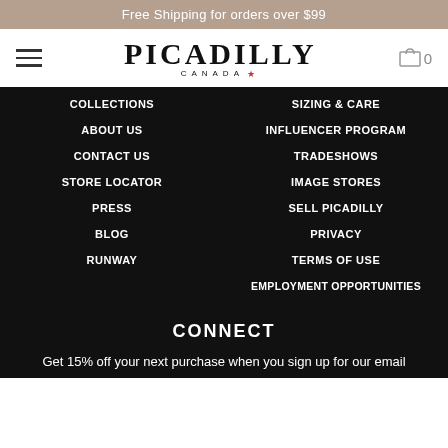Free Shipping for orders over $99
[Figure (logo): Picadilly Canada logo with hamburger menu and cart icon]
COLLECTIONS
SIZING & CARE
ABOUT US
INFLUENCER PROGRAM
CONTACT US
TRADESHOWS
STORE LOCATOR
IMAGE STORES
PRESS
SELL PICADILLY
BLOG
PRIVACY
RUNWAY
TERMS OF USE
EMPLOYMENT OPPORTUNITIES
CONNECT
Get 15% off your next purchase when you sign up for our email